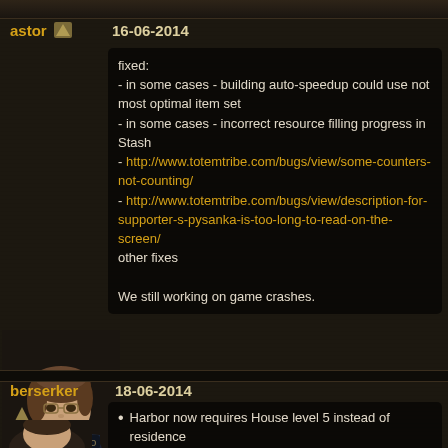astor  16-06-2014
fixed:
- in some cases - building auto-speedup could use not most optimal item set
- in some cases - incorrect resource filling progress in Stash
- http://www.totemtribe.com/bugs/view/some-counters-not-counting/
- http://www.totemtribe.com/bugs/view/description-for-supporter-s-pysanka-is-too-long-to-read-on-the-screen/
other fixes

We still working on game crashes.
8 years ago
berserker  18-06-2014
Harbor now requires House level 5 instead of residence
House is unlocked with Polytheism